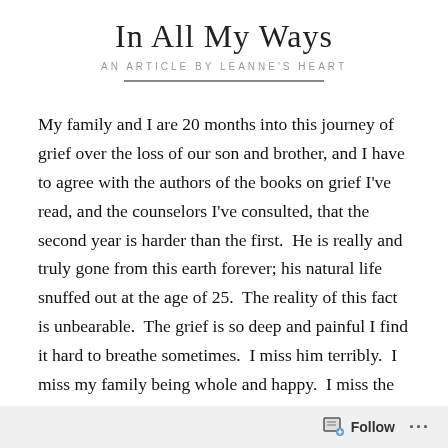In All My Ways
AN ARTICLE BY LEANNE'S HEART
My family and I are 20 months into this journey of grief over the loss of our son and brother, and I have to agree with the authors of the books on grief I've read, and the counselors I've consulted, that the second year is harder than the first.  He is really and truly gone from this earth forever; his natural life snuffed out at the age of 25.  The reality of this fact is unbearable.  The grief is so deep and painful I find it hard to breathe sometimes.  I miss him terribly.  I miss my family being whole and happy.  I miss the carefree faces of my children, and their happy chatter when
Follow